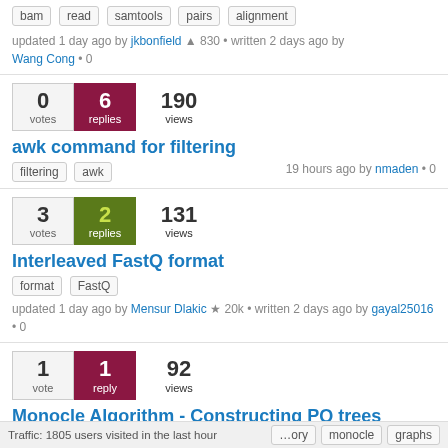Tags: bam, read, samtools, pairs, alignment
updated 1 day ago by jkbonfield ▲ 830 • written 2 days ago by Wang Cong • 0
0 votes, 6 replies, 190 views
awk command for filtering
Tags: filtering, awk
19 hours ago by nmaden • 0
3 votes, 2 replies, 131 views
Interleaved FastQ format
Tags: format, FastQ
updated 1 day ago by Mensur Dlakic ★ 20k • written 2 days ago by gayal25016 • 0
1 vote, 1 reply, 92 views
Monocle Algorithm - Constructing PQ trees
Traffic: 1805 users visited in the last hour
Tags: ...ory, monocle, graphs